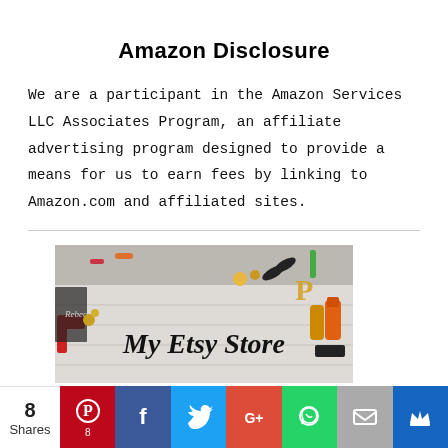Amazon Disclosure
We are a participant in the Amazon Services LLC Associates Program, an affiliate advertising program designed to provide a means for us to earn fees by linking to Amazon.com and affiliated sites.
[Figure (photo): My Etsy Store banner image with craft supplies scattered on a white wooden surface]
[Figure (infographic): Social sharing bar with share count (8 Shares), Pinterest, Facebook, Twitter, Google+, WhatsApp, Email, and Crown buttons]